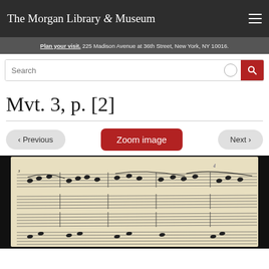The Morgan Library & Museum
Plan your visit. 225 Madison Avenue at 36th Street, New York, NY 10016.
Search
Mvt. 3, p. [2]
‹ Previous   Zoom image   Next ›
[Figure (photo): Handwritten musical manuscript score showing multiple staves with notes, dynamics, and annotations in ink on aged paper, against a dark background.]